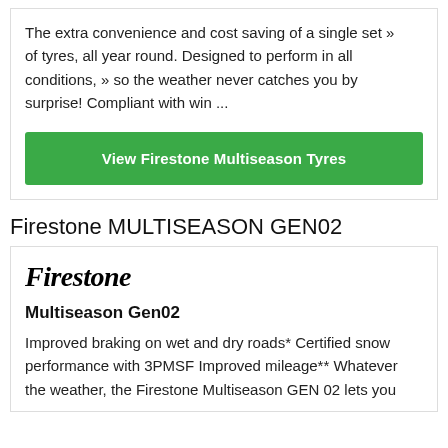The extra convenience and cost saving of a single set » of tyres, all year round. Designed to perform in all conditions, » so the weather never catches you by surprise! Compliant with win ...
View Firestone Multiseason Tyres
Firestone MULTISEASON GEN02
[Figure (logo): Firestone logo in bold italic serif font]
Multiseason Gen02
Improved braking on wet and dry roads* Certified snow performance with 3PMSF Improved mileage** Whatever the weather, the Firestone Multiseason GEN 02 lets you...